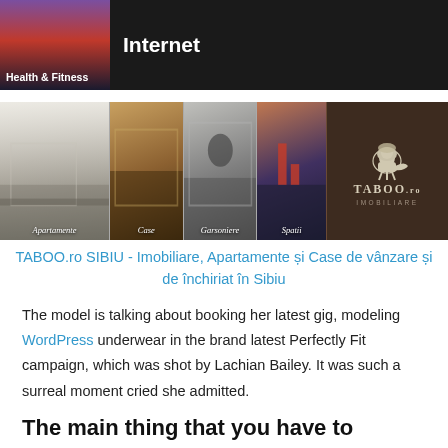Internet / Health & Fitness
[Figure (photo): Row of real-estate category images: Apartamente, Case, Garsoniere, Spatii, and TABOO.ro Imobiliare logo on dark brown background]
TABOO.ro SIBIU - Imobiliare, Apartamente și Case de vânzare și de închiriat în Sibiu
The model is talking about booking her latest gig, modeling WordPress underwear in the brand latest Perfectly Fit campaign, which was shot by Lachian Bailey. It was such a surreal moment cried she admitted.
The main thing that you have to